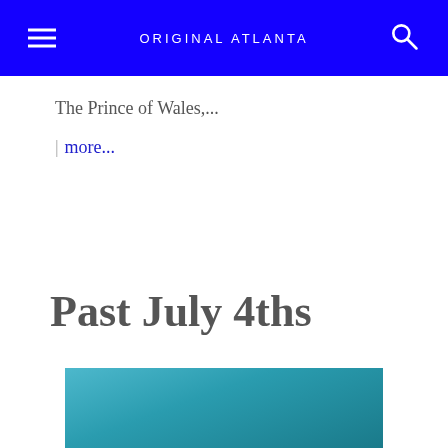ORIGINAL ATLANTA
The Prince of Wales,...
| more...
Past July 4ths
[Figure (photo): A teal/blue gradient image, partially visible, cropped at the bottom of the page.]